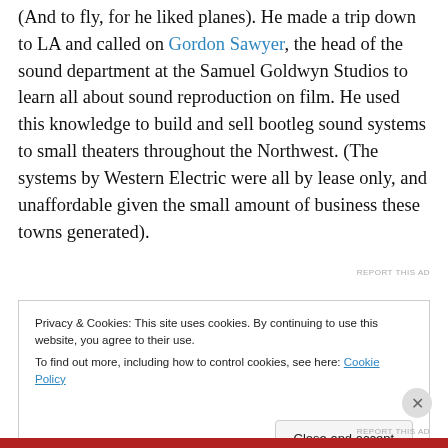(And to fly, for he liked planes). He made a trip down to LA and called on Gordon Sawyer, the head of the sound department at the Samuel Goldwyn Studios to learn all about sound reproduction on film. He used this knowledge to build and sell bootleg sound systems to small theaters throughout the Northwest. (The systems by Western Electric were all by lease only, and unaffordable given the small amount of business these towns generated).
REPORT THIS AD
Privacy & Cookies: This site uses cookies. By continuing to use this website, you agree to their use.
To find out more, including how to control cookies, see here: Cookie Policy
Close and accept